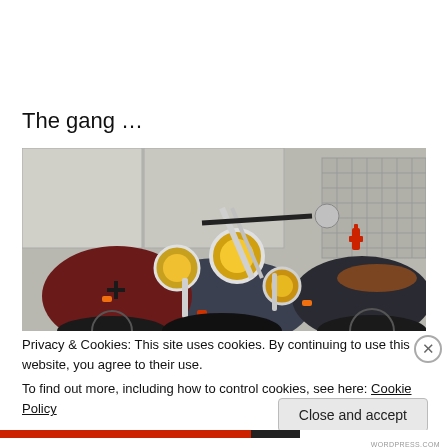The gang …
[Figure (photo): A row of motorcycles parked on a street in front of a building with garage doors. The bikes include cruiser-style motorcycles with yellow headlights, chrome forks, and one with a brown leather seat.]
Privacy & Cookies: This site uses cookies. By continuing to use this website, you agree to their use.
To find out more, including how to control cookies, see here: Cookie Policy
Close and accept